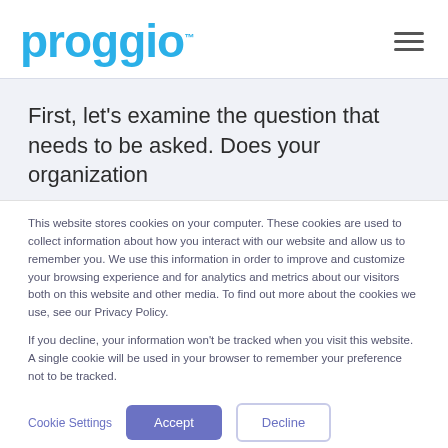proggio
First, let's examine the question that needs to be asked. Does your organization
This website stores cookies on your computer. These cookies are used to collect information about how you interact with our website and allow us to remember you. We use this information in order to improve and customize your browsing experience and for analytics and metrics about our visitors both on this website and other media. To find out more about the cookies we use, see our Privacy Policy.

If you decline, your information won't be tracked when you visit this website. A single cookie will be used in your browser to remember your preference not to be tracked.
Cookie Settings   Accept   Decline